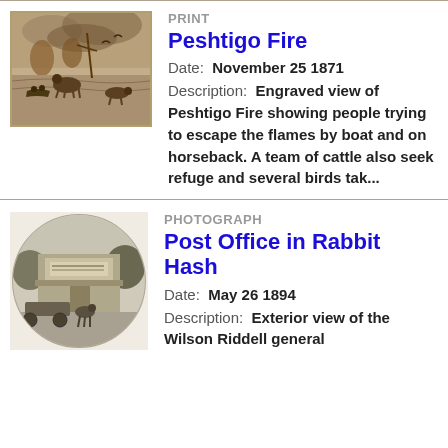[Figure (photo): Sepia engraved print depicting the Peshtigo Fire, showing people escaping flames by boat and horseback, with cattle and birds.]
PRINT
Peshtigo Fire
Date: November 25 1871
Description: Engraved view of Peshtigo Fire showing people trying to escape the flames by boat and on horseback. A team of cattle also seek refuge and several birds tak...
[Figure (photo): Circular cropped black and white photograph of the exterior of the Wilson Riddell general store/post office in Rabbit Hash, with a horse-drawn wagon outside.]
PHOTOGRAPH
Post Office in Rabbit Hash
Date: May 26 1894
Description: Exterior view of the Wilson Riddell general